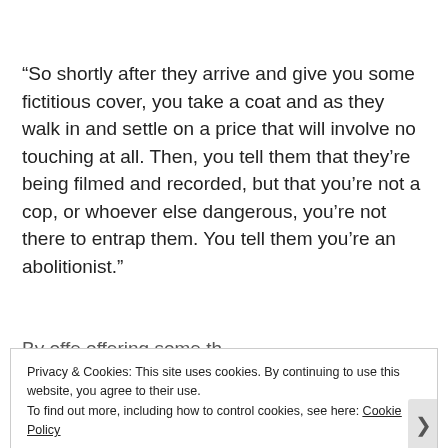“So shortly after they arrive and give you some fictitious cover, you take a coat and as they walk in and settle on a price that will involve no touching at all. Then, you tell them that they’re being filmed and recorded, but that you’re not a cop, or whoever else dangerous, you’re not there to entrap them. You tell them you’re an abolitionist.”
By offering some...
Privacy & Cookies: This site uses cookies. By continuing to use this website, you agree to their use.
To find out more, including how to control cookies, see here: Cookie Policy